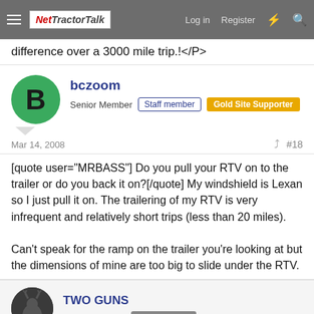NetTractorTalk — Log in   Register
difference over a 3000 mile trip.!</P>
bczoom
Senior Member   Staff member   Gold Site Supporter
Mar 14, 2008   #18
[quote user="MRBASS"] Do you pull your RTV on to the trailer or do you back it on?[/quote]
My windshield is Lexan so I just pull it on. The trailering of my RTV is very infrequent and relatively short trips (less than 20 miles).

Can't speak for the ramp on the trailer you're looking at but the dimensions of mine are too big to slide under the RTV.
TWO GUNS
Senior Member   Site Supporter